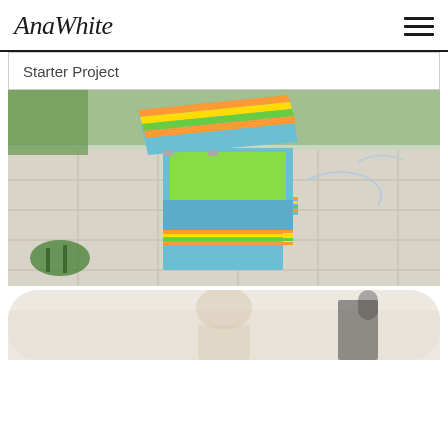AnaWhite
Starter Project
[Figure (photo): A colorful wooden step stool/storage box with blue exterior and green interior, decorated with orange and yellow stripes. The box lid is open, revealing the green interior. It sits on a patio with chalked drawings and some plants visible.]
[Figure (photo): Partial view of a second image — rounded top visible, appears to show a person in light-colored clothing against a light background.]